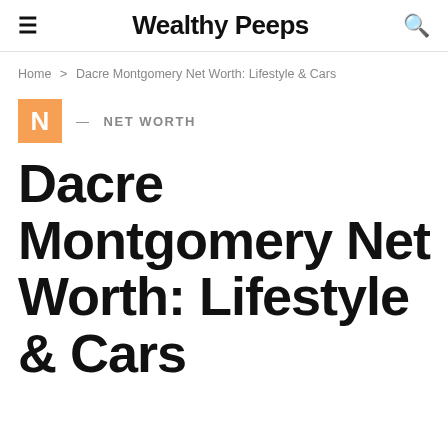Wealthy Peeps
Home > Dacre Montgomery Net Worth: Lifestyle & Cars
NET WORTH
Dacre Montgomery Net Worth: Lifestyle & Cars